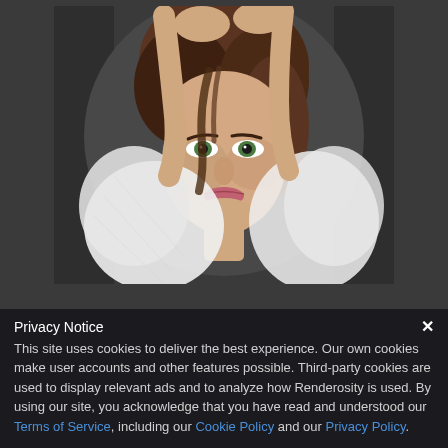[Figure (photo): Portrait photo of a young woman with brown hair and green eyes, wearing a white lace top, hands raised above her head, against a dark grey background.]
Privacy Notice
This site uses cookies to deliver the best experience. Our own cookies make user accounts and other features possible. Third-party cookies are used to display relevant ads and to analyze how Renderosity is used. By using our site, you acknowledge that you have read and understood our Terms of Service, including our Cookie Policy and our Privacy Policy.